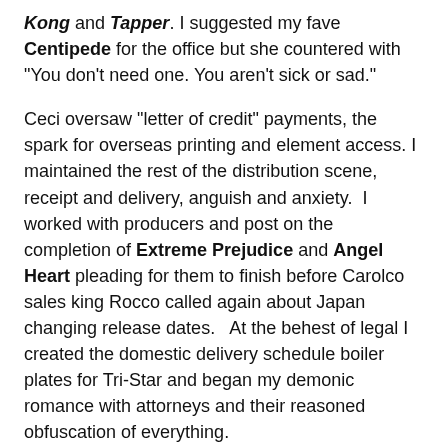Kong and Tapper. I suggested my fave Centipede for the office but she countered with "You don't need one. You aren't sick or sad."
Ceci oversaw "letter of credit" payments, the spark for overseas printing and element access. I maintained the rest of the distribution scene, receipt and delivery, anguish and anxiety.  I worked with producers and post on the completion of Extreme Prejudice and Angel Heart pleading for them to finish before Carolco sales king Rocco called again about Japan changing release dates.   At the behest of legal I created the domestic delivery schedule boiler plates for Tri-Star and began my demonic romance with attorneys and their reasoned obfuscation of everything.
The company populous was inflating.  Production offices were required. Three or four floors of bank building were tight, elbows were getting bruised.   Time to take over a whole building.  So a structure was built at 8800 Sunset Boulevard